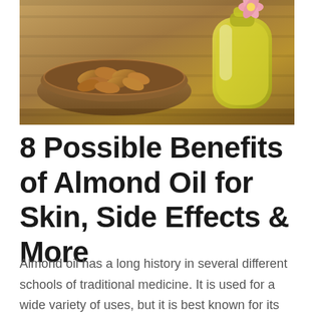[Figure (photo): A wooden tray with a bowl of almonds and a glass jar of almond oil, with a pink flower blossom in the background]
8 Possible Benefits of Almond Oil for Skin, Side Effects & More
Almond oil has a long history in several different schools of traditional medicine. It is used for a wide variety of uses, but it is best known for its use in skincare. Keep reading to learn more about coconut oil and its potential